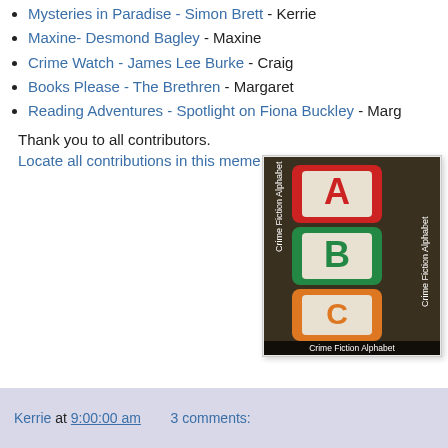Mysteries in Paradise - Simon Brett - Kerrie
Maxine- Desmond Bagley - Maxine
Crime Watch - James Lee Burke - Craig
Books Please - The Brethren - Margaret
Reading Adventures - Spotlight on Fiona Buckley - Marg
Thank you to all contributors.
Locate all contributions in this meme
[Figure (photo): Photo of alphabet blocks showing letters A, B, C with text 'Crime Fiction Alphabet' overlaid and as a caption]
Kerrie at 9:00:00 am    3 comments: